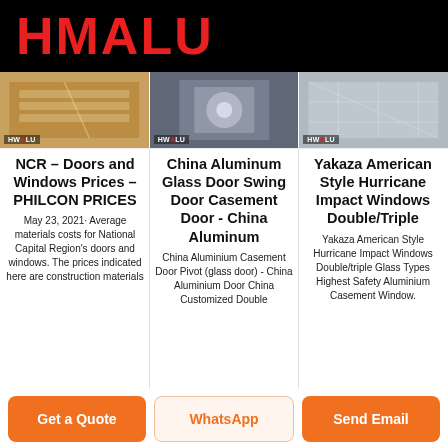HMALU
[Figure (photo): Three product photos showing aluminum door and window products, each with HWALU watermark logo]
NCR – Doors and Windows Prices – PHILCON PRICES
May 23, 2021· Average materials costs for National Capital Region's doors and windows. The prices indicated here are construction materials
China Aluminum Glass Door Swing Door Casement Door - China Aluminum
China Aluminium Casement Door Pivot (glass door) - China Aluminium Door China Customized Double
Yakaza American Style Hurricane Impact Windows Double/Triple
Yakaza American Style Hurricane Impact Windows Double/triple Glass Types Highest Safety Aluminium Casement Window.
Get a Quote | WhatsApp | Send Email